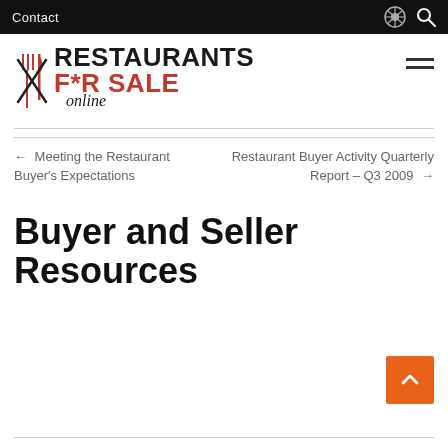Contact
[Figure (logo): Restaurants For Sale Online logo with crossed fork and knife icon]
← Meeting the Restaurant Buyer's Expectations
Restaurant Buyer Activity Quarterly Report – Q3 2009 →
Buyer and Seller Resources